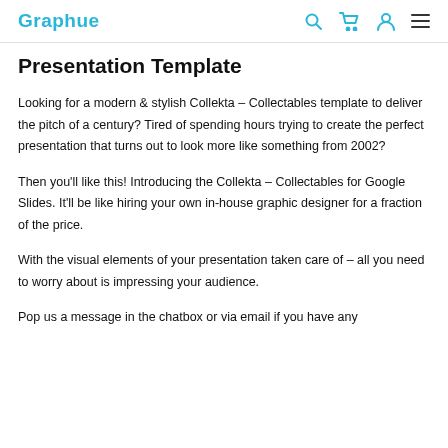Graphue
Presentation Template
Looking for a modern & stylish Collekta – Collectables template to deliver the pitch of a century? Tired of spending hours trying to create the perfect presentation that turns out to look more like something from 2002?
Then you'll like this! Introducing the Collekta – Collectables for Google Slides. It'll be like hiring your own in-house graphic designer for a fraction of the price.
With the visual elements of your presentation taken care of – all you need to worry about is impressing your audience.
Pop us a message in the chatbox or via email if you have any